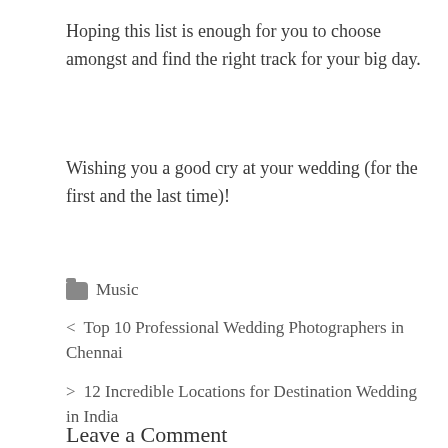Hoping this list is enough for you to choose amongst and find the right track for your big day.
Wishing you a good cry at your wedding (for the first and the last time)!
Music
< Top 10 Professional Wedding Photographers in Chennai
> 12 Incredible Locations for Destination Wedding in India
Leave a Comment